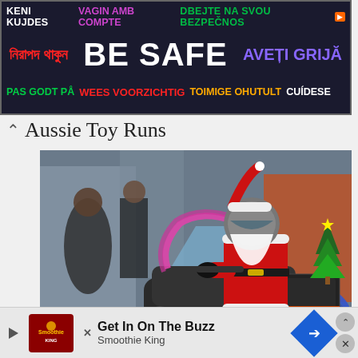[Figure (infographic): Multilingual safety banner advertisement with black background. Row 1: 'KENI KUJDES' (white), 'VAGIN AMB COMPTE' (purple), 'DBEJTE NA SVOU BEZPECNOS' (green) with orange ad icon. Row 2: Bengali text in red, 'BE SAFE' in large white text, 'AVETI GRIJA' in purple. Row 3: 'PAS GODT PA' (green), 'WEES VOORZICHTIG' (red), 'TOIMIGE OHUTULT' (yellow/orange), 'CUIDESE' (white).]
Aussie Toy Runs
[Figure (photo): Person dressed in a Santa Claus costume with helmet riding a decorated motorcycle/scooter. The bike is decorated with pink/magenta and blue tinsel garlands. A small Christmas tree is visible on the back. Other people visible in the blurred background.]
[Figure (infographic): Bottom advertisement for Smoothie King. Shows the Smoothie King logo on dark red background, text 'Get In On The Buzz' and 'Smoothie King', a blue diamond arrow button, navigation controls and close button.]